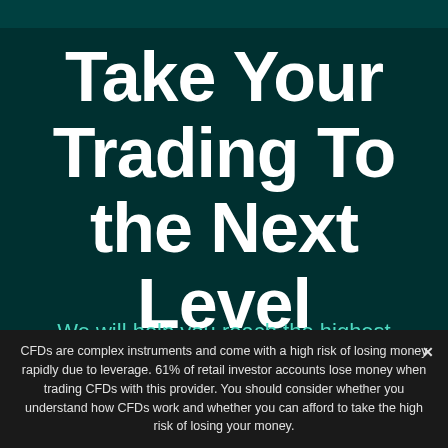Take Your Trading To the Next Level
We will help you reach the highest
CFDs are complex instruments and come with a high risk of losing money rapidly due to leverage. 61% of retail investor accounts lose money when trading CFDs with this provider. You should consider whether you understand how CFDs work and whether you can afford to take the high risk of losing your money.